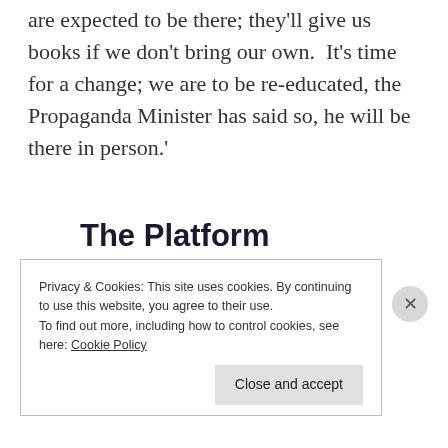are expected to be there; they'll give us books if we don't bring our own.  It's time for a change; we are to be re-educated, the Propaganda Minister has said so, he will be there in person.'
[Figure (infographic): WordPress hosting advertisement banner: 'The Platform Where WordPress Works Best' with 'WordPress' and 'Best' in blue]
Privacy & Cookies: This site uses cookies. By continuing to use this website, you agree to their use.
To find out more, including how to control cookies, see here: Cookie Policy
Close and accept